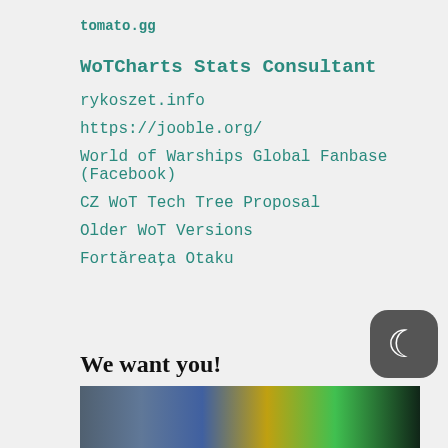tomato.gg
WoTCharts Stats Consultant
rykoszet.info
https://jooble.org/
World of Warships Global Fanbase (Facebook)
CZ WoT Tech Tree Proposal
Older WoT Versions
Fortăreața Otaku
We want you!
[Figure (photo): A collage of images at the bottom of the page, partially visible]